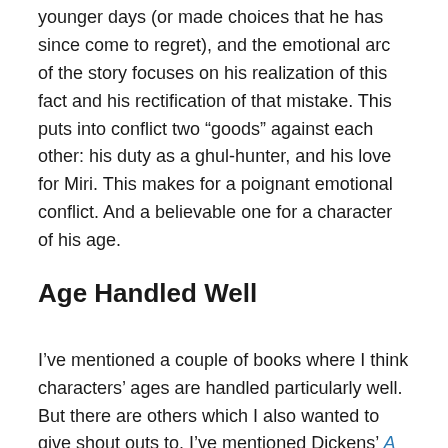younger days (or made choices that he has since come to regret), and the emotional arc of the story focuses on his realization of this fact and his rectification of that mistake. This puts into conflict two “goods” against each other: his duty as a ghul-hunter, and his love for Miri. This makes for a poignant emotional conflict. And a believable one for a character of his age.
Age Handled Well
I’ve mentioned a couple of books where I think characters’ ages are handled particularly well. But there are others which I also wanted to give shout outs to. I’ve mentioned Dickens’ A Christmas Carol: if Scrooge wasn’t an old man, the book would have no meaning. Hugo’s Les Miserables also works precisely because of its interplay between the younger characters from the (Marius, Cosette, Eponine...